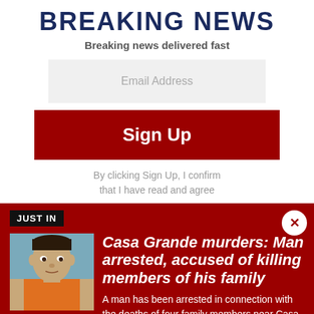BREAKING NEWS
Breaking news delivered fast
[Figure (screenshot): Email address input field with light grey background]
[Figure (screenshot): Red Sign Up button]
By clicking Sign Up, I confirm that I have read and agree
JUST IN
[Figure (photo): Mugshot of a man in an orange shirt]
Casa Grande murders: Man arrested, accused of killing members of his family
A man has been arrested in connection with the deaths of four family members near Casa Grande, according to officials with the Pinal County Sheriff's Office.